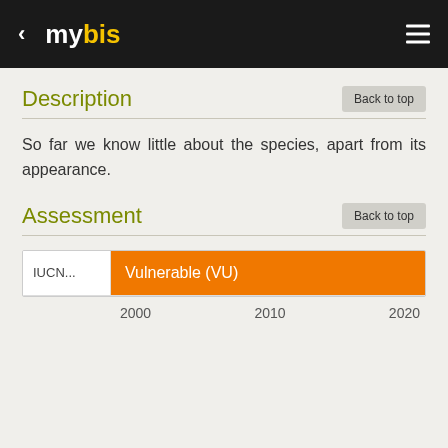mybis
Description
So far we know little about the species, apart from its appearance.
Assessment
[Figure (bar-chart): IUCN Assessment Timeline]